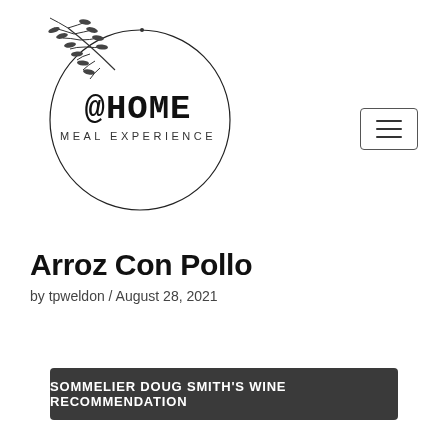[Figure (logo): @HOME MEAL EXPERIENCE logo — circular botanical wreath with text '@HOME' large serif/slab font and 'MEAL EXPERIENCE' below in small spaced caps]
Arroz Con Pollo
by tpweldon / August 28, 2021
SOMMELIER DOUG SMITH'S WINE RECOMMENDATION